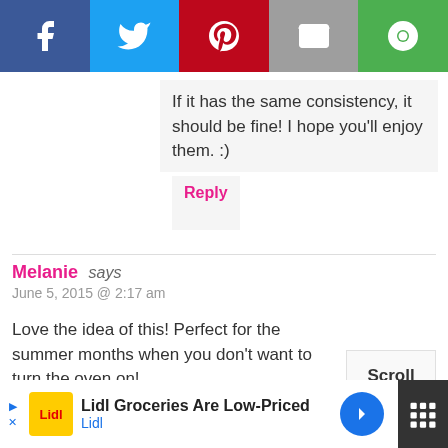[Figure (other): Social sharing bar with Facebook, Twitter, Pinterest, email, and a fifth share button]
If it has the same consistency, it should be fine! I hope you'll enjoy them. :)
Reply
Melanie says
June 5, 2015 @ 2:17 am
Love the idea of this! Perfect for the summer months when you don't want to turn the oven on!
Reply
[Figure (other): Scroll to top button]
[Figure (other): Lidl Groceries Are Low-Priced advertisement banner at the bottom]